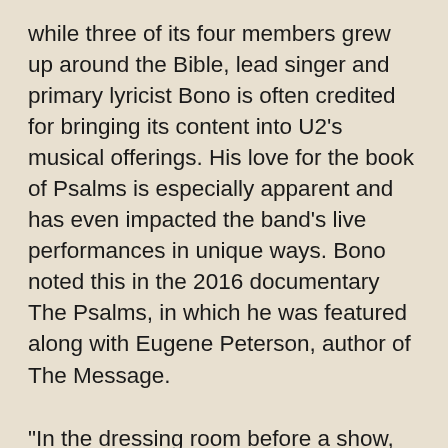while three of its four members grew up around the Bible, lead singer and primary lyricist Bono is often credited for bringing its content into U2’s musical offerings. His love for the book of Psalms is especially apparent and has even impacted the band’s live performances in unique ways. Bono noted this in the 2016 documentary The Psalms, in which he was featured along with Eugene Peterson, author of The Message.
“In the dressing room before a show, we would read the psalms as a band and then walk out into arenas and stadiums—the words igniting us, inspiring us,” Bono revealed.
The lead singer has also been known to read